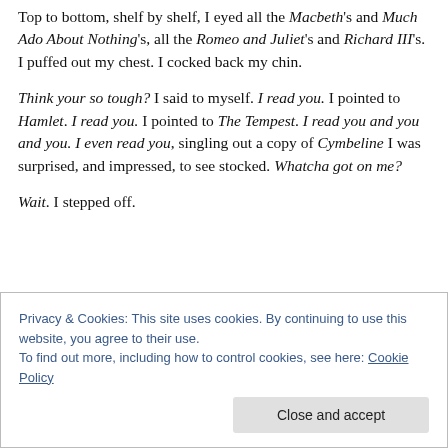Top to bottom, shelf by shelf, I eyed all the Macbeth's and Much Ado About Nothing's, all the Romeo and Juliet's and Richard III's. I puffed out my chest. I cocked back my chin.
Think your so tough? I said to myself. I read you. I pointed to Hamlet. I read you. I pointed to The Tempest. I read you and you and you. I even read you, singling out a copy of Cymbeline I was surprised, and impressed, to see stocked. Whatcha got on me?
Wait. I stepped off.
Privacy & Cookies: This site uses cookies. By continuing to use this website, you agree to their use. To find out more, including how to control cookies, see here: Cookie Policy